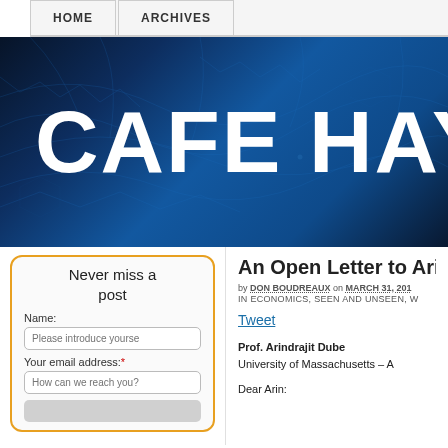HOME   ARCHIVES
[Figure (illustration): Cafe Hayek website banner with dark blue circuit-pattern background and large white bold text reading 'CAFE HAY']
Never miss a post
Name:
Please introduce yourself
Your email address: *
How can we reach you?
An Open Letter to Arin
by DON BOUDREAUX on MARCH 31, 201
in ECONOMICS, SEEN AND UNSEEN, W
Tweet
Prof. Arindrajit Dube
University of Massachusetts – A
Dear Arin: